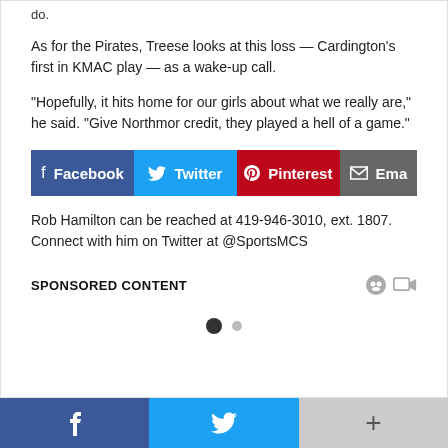do.
As for the Pirates, Treese looks at this loss — Cardington's first in KMAC play — as a wake-up call.
“Hopefully, it hits home for our girls about what we really are,” he said. “Give Northmor credit, they played a hell of a game.”
[Figure (infographic): Social sharing buttons: Facebook (blue), Twitter (light blue), Pinterest (red), Email (gray)]
Rob Hamilton can be reached at 419-946-3010, ext. 1807. Connect with him on Twitter at @SportsMCS
SPONSORED CONTENT
[Figure (infographic): Pagination dots: one filled dark dot and one small gray dot]
[Figure (infographic): Bottom navigation bar with Facebook, Twitter, and More (+) buttons]